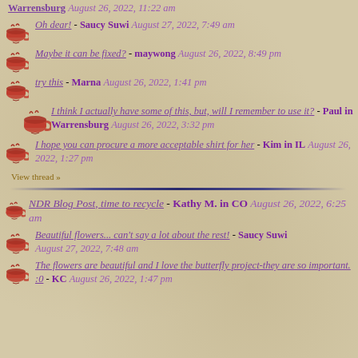Warrensburg August 26, 2022, 11:22 am
Oh dear! - Saucy Suwi August 27, 2022, 7:49 am
Maybe it can be fixed? - maywong August 26, 2022, 8:49 pm
try this - Marna August 26, 2022, 1:41 pm
I think I actually have some of this, but, will I remember to use it? - Paul in Warrensburg August 26, 2022, 3:32 pm
I hope you can procure a more acceptable shirt for her - Kim in IL August 26, 2022, 1:27 pm
View thread »
NDR Blog Post, time to recycle - Kathy M. in CO August 26, 2022, 6:25 am
Beautiful flowers... can't say a lot about the rest! - Saucy Suwi August 27, 2022, 7:48 am
The flowers are beautiful and I love the butterfly project-they are so important. :0 - KC August 26, 2022, 1:47 pm